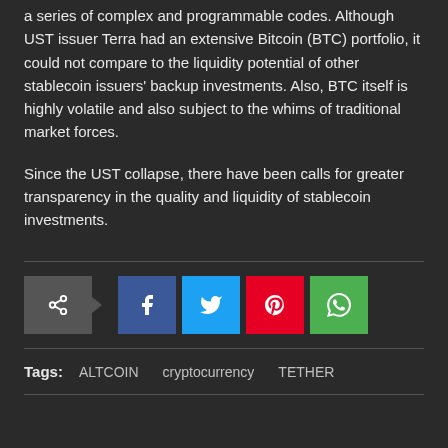a series of complex and programmable codes. Although UST issuer Terra had an extensive Bitcoin (BTC) portfolio, it could not compare to the liquidity potential of other stablecoin issuers' backup investments. Also, BTC itself is highly volatile and also subject to the whims of traditional market forces.
Since the UST collapse, there have been calls for greater transparency in the quality and liquidity of stablecoin investments.
[Figure (other): Social share buttons row: a share icon button with arrow, followed by Facebook (f), Twitter (bird), Pinterest (P), and WhatsApp (phone) icon buttons]
Tags: ALTCOIN   cryptocurrency   TETHER